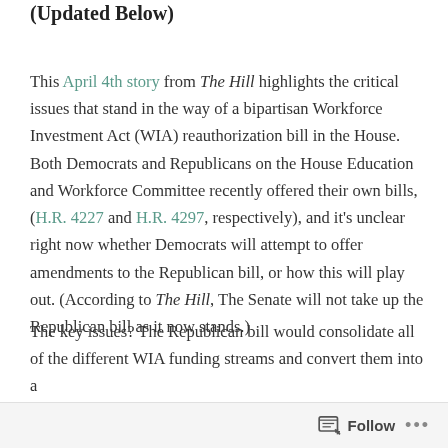(Updated Below)
This April 4th story from The Hill highlights the critical issues that stand in the way of a bipartisan Workforce Investment Act (WIA) reauthorization bill in the House. Both Democrats and Republicans on the House Education and Workforce Committee recently offered their own bills, (H.R. 4227 and H.R. 4297, respectively), and it’s unclear right now whether Democrats will attempt to offer amendments to the Republican bill, or how this will play out. (According to The Hill, The Senate will not take up the Republican bill as it now stands.)
The key issues? The Republican bill would consolidate all of the different WIA funding streams and convert them into a
Follow ...